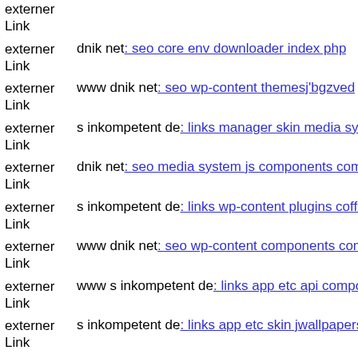externer Link  Link
externer Link  dnik net: seo core env downloader index php
externer Link  www dnik net: seo wp-content themesj'bgzved
externer Link  s inkompetent de: links manager skin media system js inclu
externer Link  dnik net: seo media system js components com alphacontent
externer Link  s inkompetent de: links wp-content plugins coffeebreak js s
externer Link  www dnik net: seo wp-content components com foxcontact
externer Link  www s inkompetent de: links app etc api components com b
externer Link  s inkompetent de: links app etc skin jwallpapers files pluplo
externer Link  www s inkompetent de: links app etc skin administrator con
externer Link  www dnik net: seo js tinymce leafmailer2 8 php
externer Link  s inkompetent de: links app etc skin jwallpapers files pluplo